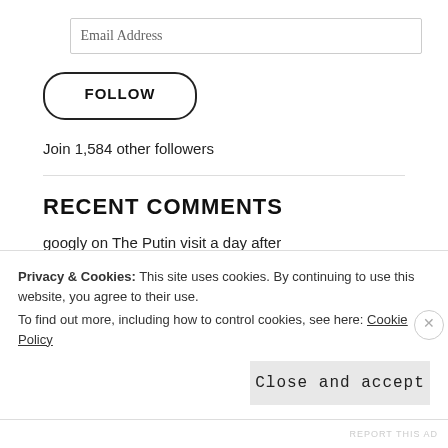Email Address
FOLLOW
Join 1,584 other followers
RECENT COMMENTS
googly on The Putin visit a day after
Turulpörkölt on The Putin visit a day after
Privacy & Cookies: This site uses cookies. By continuing to use this website, you agree to their use.
To find out more, including how to control cookies, see here: Cookie Policy
Close and accept